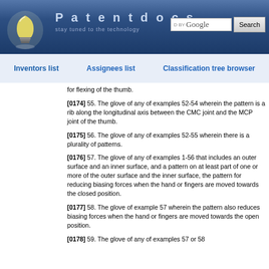Patentdocs — stay tuned to the technology
Inventors list   Assignees list   Classification tree browser
for flexing of the thumb.
[0174] 55. The glove of any of examples 52-54 wherein the pattern is a rib along the longitudinal axis between the CMC joint and the MCP joint of the thumb.
[0175] 56. The glove of any of examples 52-55 wherein there is a plurality of patterns.
[0176] 57. The glove of any of examples 1-56 that includes an outer surface and an inner surface, and a pattern on at least part of one or more of the outer surface and the inner surface, the pattern for reducing biasing forces when the hand or fingers are moved towards the closed position.
[0177] 58. The glove of example 57 wherein the pattern also reduces biasing forces when the hand or fingers are moved towards the open position.
[0178] 59. The glove of any of examples 57 or 58